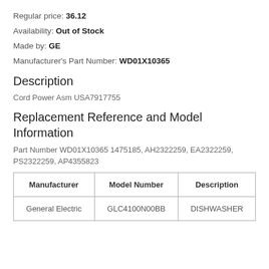Regular price: 36.12
Availability: Out of Stock
Made by: GE
Manufacturer's Part Number: WD01X10365
Description
Cord Power Asm USA7917755
Replacement Reference and Model Information
Part Number WD01X10365 1475185, AH2322259, EA2322259, PS2322259, AP4355823
| Manufacturer | Model Number | Description |
| --- | --- | --- |
| General Electric | GLC4100N00BB | DISHWASHER |